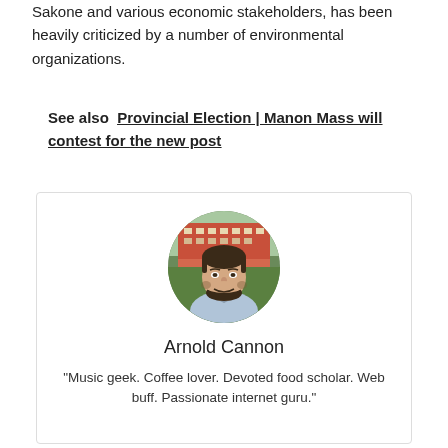Sakone and various economic stakeholders, has been heavily criticized by a number of environmental organizations.
See also  Provincial Election | Manon Mass will contest for the new post
[Figure (photo): Headshot photo of Arnold Cannon, a man with short dark hair and beard, wearing a light blue sweater, standing in front of a building.]
Arnold Cannon
"Music geek. Coffee lover. Devoted food scholar. Web buff. Passionate internet guru."